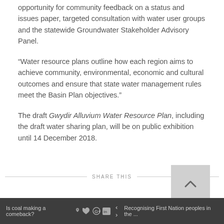opportunity for community feedback on a status and issues paper, targeted consultation with water user groups and the statewide Groundwater Stakeholder Advisory Panel.
“Water resource plans outline how each region aims to achieve community, environmental, economic and cultural outcomes and ensure that state water management rules meet the Basin Plan objectives.”
The draft Gwydir Alluvium Water Resource Plan, including the draft water sharing plan, will be on public exhibition until 14 December 2018.
Is coal making a comeback?  ‹  ›  Recognising First Nation peoples in the ...